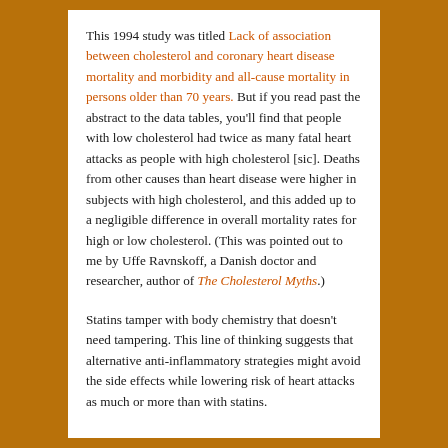This 1994 study was titled Lack of association between cholesterol and coronary heart disease mortality and morbidity and all-cause mortality in persons older than 70 years. But if you read past the abstract to the data tables, you'll find that people with low cholesterol had twice as many fatal heart attacks as people with high cholesterol [sic]. Deaths from other causes than heart disease were higher in subjects with high cholesterol, and this added up to a negligible difference in overall mortality rates for high or low cholesterol. (This was pointed out to me by Uffe Ravnskoff, a Danish doctor and researcher, author of The Cholesterol Myths.)
Statins tamper with body chemistry that doesn't need tampering. This line of thinking suggests that alternative anti-inflammatory strategies might avoid the side effects while lowering risk of heart attacks as much or more than with statins.